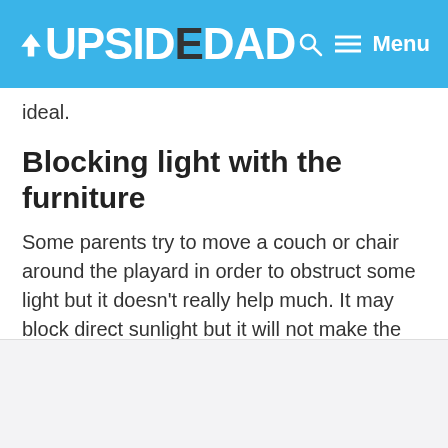UPSIDEDAD — Menu
ideal.
Blocking light with the furniture
Some parents try to move a couch or chair around the playard in order to obstruct some light but it doesn't really help much. It may block direct sunlight but it will not make the sleeping area any darker.
[Figure (photo): A light gray/white rectangular placeholder image area at the bottom of the page.]